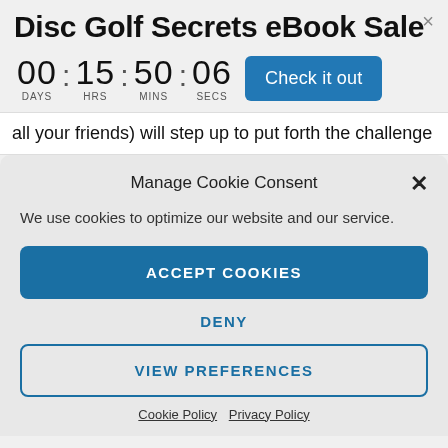Disc Golf Secrets eBook Sale
00 : 15 : 50 : 06  DAYS  HRS  MINS  SECS  Check it out
all your friends) will step up to put forth the challenge
Manage Cookie Consent
We use cookies to optimize our website and our service.
ACCEPT COOKIES
DENY
VIEW PREFERENCES
Cookie Policy  Privacy Policy